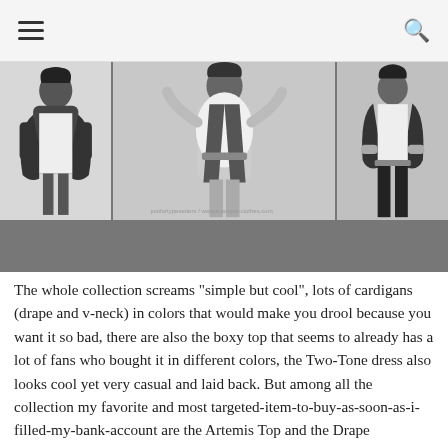[navigation bar with hamburger menu and search icon]
[Figure (photo): Three black and white fashion photos side by side showing models wearing draped tops, cardigans, and leather pants from a fashion collection.]
The whole collection screams "simple but cool", lots of cardigans (drape and v-neck) in colors that would make you drool because you want it so bad, there are also the boxy top that seems to already has a lot of fans who bought it in different colors, the Two-Tone dress also looks cool yet very casual and laid back. But among all the collection my favorite and most targeted-item-to-buy-as-soon-as-i-filled-my-bank-account are the Artemis Top and the Drape